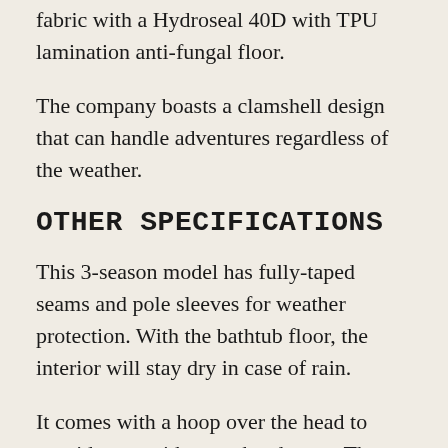fabric with a Hydroseal 40D with TPU lamination anti-fungal floor.
The company boasts a clamshell design that can handle adventures regardless of the weather.
OTHER SPECIFICATIONS
This 3-season model has fully-taped seams and pole sleeves for weather protection. With the bathtub floor, the interior will stay dry in case of rain.
It comes with a hoop over the head to provide you with more headspace. There is an internal mesh pocket in the front part